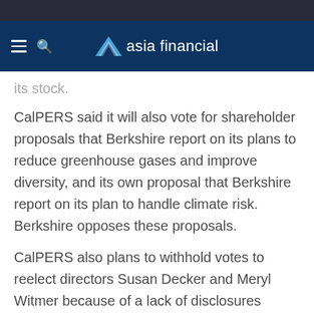asia financial
its stock.
CalPERS said it will also vote for shareholder proposals that Berkshire report on its plans to reduce greenhouse gases and improve diversity, and its own proposal that Berkshire report on its plan to handle climate risk. Berkshire opposes these proposals.
CalPERS also plans to withhold votes to reelect directors Susan Decker and Meryl Witmer because of a lack of disclosures related to climate change.
The fund backed US company directors 72% of the